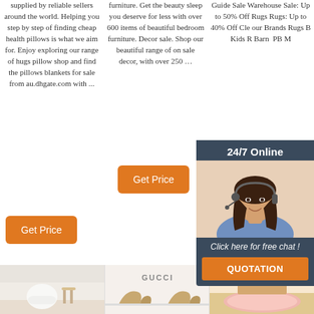supplied by reliable sellers around the world. Helping you step by step of finding cheap health pillows is what we aim for. Enjoy exploring our range of hugs pillow shop and find the pillows blankets for sale from au.dhgate.com with ...
furniture. Get the beauty sleep you deserve for less with over 600 items of beautiful bedroom furniture. Decor sale. Shop our beautiful range of on sale decor, with over 250 …
Guide Sale Warehouse Sale: Up to 50% Off Rugs Rugs: Up to 40% Off Cle our Brands Rugs B Kids R Barn  PB M
[Figure (infographic): Live chat popup widget featuring a female customer service agent with headset, dark header showing '24/7 Online', body text 'Click here for free chat!', and orange QUOTATION button]
[Figure (illustration): Top icon with orange house/arrow shape and text TOP]
[Figure (photo): Three product thumbnail images at the bottom: a minimalist living room with white chair, a Gucci shoe/fashion item, and a pink rug on floor]
[Figure (other): Orange Get Price button in column 1]
[Figure (other): Orange Get Price button in column 2]
[Figure (other): Orange Get Price button (partial) in column 3]